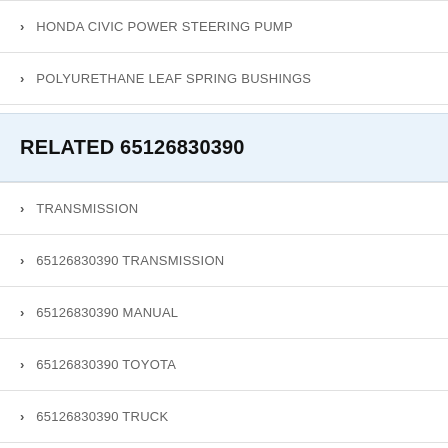HONDA CIVIC POWER STEERING PUMP
POLYURETHANE LEAF SPRING BUSHINGS
RELATED 65126830390
TRANSMISSION
65126830390 TRANSMISSION
65126830390 MANUAL
65126830390 TOYOTA
65126830390 TRUCK
65126830390 FRONT
65126830390 FORD